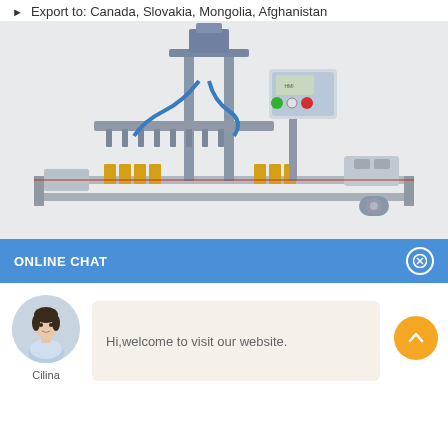Export to: Canada, Slovakia, Mongolia, Afghanistan
[Figure (photo): Industrial filling machine - stainless steel automatic liquid filling machine with conveyor belt, control panel with green and red buttons, filling nozzles, and blue tubing]
ONLINE CHAT
[Figure (photo): Chat avatar of a woman named Cilina in a white/light blue outfit]
Hi,welcome to visit our website.
Cilina